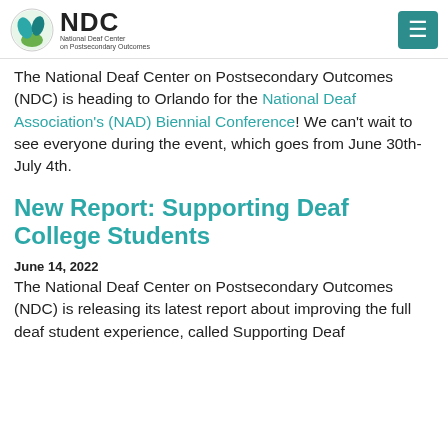NDC National Deaf Center on Postsecondary Outcomes
The National Deaf Center on Postsecondary Outcomes (NDC) is heading to Orlando for the National Deaf Association's (NAD) Biennial Conference! We can't wait to see everyone during the event, which goes from June 30th-July 4th.
New Report: Supporting Deaf College Students
June 14, 2022
The National Deaf Center on Postsecondary Outcomes (NDC) is releasing its latest report about improving the full deaf student experience, called Supporting Deaf